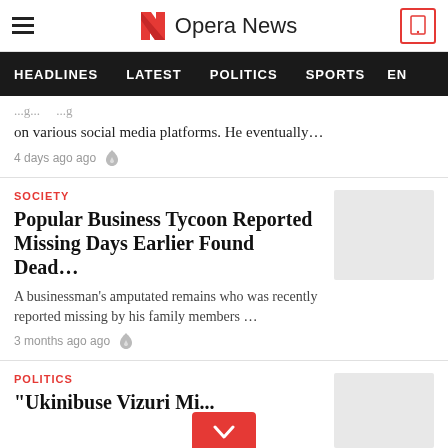Opera News
HEADLINES  LATEST  POLITICS  SPORTS  EN
on various social media platforms. He eventually…
4 days ago ago
SOCIETY
Popular Business Tycoon Reported Missing Days Earlier Found Dead…
A businessman's amputated remains who was recently reported missing by his family members …
3 months ago ago
POLITICS
"Ukinibuse Vizuri Mi...